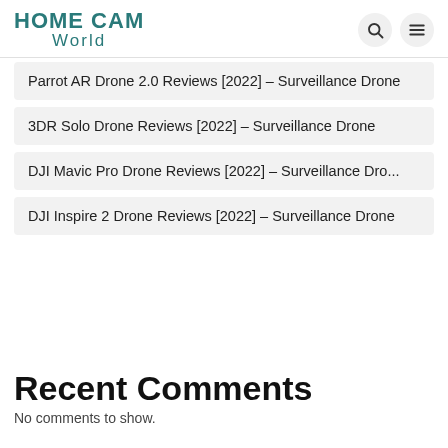HOME CAM World
Parrot AR Drone 2.0 Reviews [2022] – Surveillance Drone
3DR Solo Drone Reviews [2022] – Surveillance Drone
DJI Mavic Pro Drone Reviews [2022] – Surveillance Dro...
DJI Inspire 2 Drone Reviews [2022] – Surveillance Drone
Recent Comments
No comments to show.